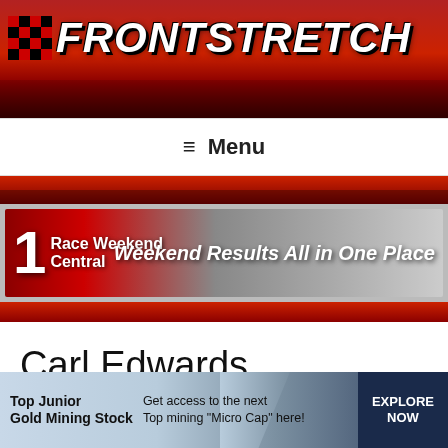[Figure (logo): Frontstretch website header banner with red background, checkered flag icon, and FRONTSTRETCH logo text in white italic bold font. Racing crowd visible in background.]
≡ Menu
[Figure (screenshot): Race Weekend Central banner: red and grey gradient background with 'Race Weekend Central' on left and 'Weekend Results All in One Place' italic text on right.]
Carl Edwards
[Figure (infographic): Advertisement banner: 'Top Junior Gold Mining Stock' with text 'Get access to the next Top mining "Micro Cap" here!' and 'EXPLORE NOW' button on dark blue right side. Close X button in top right corner.]